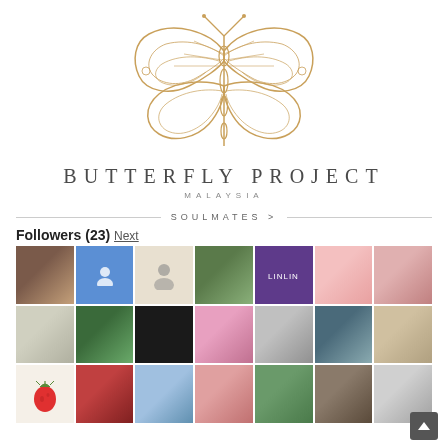[Figure (logo): Butterfly Project Malaysia logo — golden line-art butterfly illustration above the brand name]
BUTTERFLY PROJECT
MALAYSIA
SOULMATES >
Followers (23) Next
[Figure (photo): Grid of 21 follower profile thumbnails arranged in 3 rows of 7]